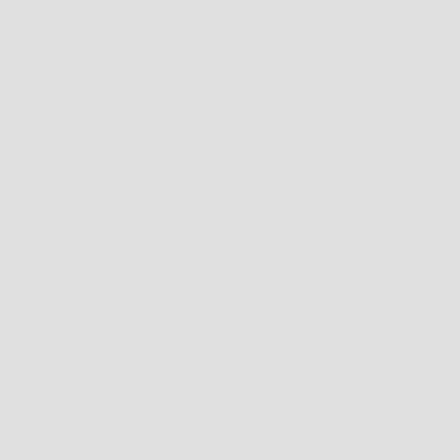We...
41.
[Figure (illustration): Book cover of 'Devils & Rebels: The Making of Antebellum's Demonic Politics' by Larry J. Reynolds. Red title text on white background with black historical illustration.]
Dev...
The...
Lar...
Was...
aut...
Pap...
Ebo...
42.
[Figure (illustration): Book cover of 'Risk Culture: Performance & Danger in Early America' by Joseph Fichtleberg. Dark brown cover with gold title text and golden antiquated image.]
Ris...
Per...
Jos...
Clo...
Pap...
Har...